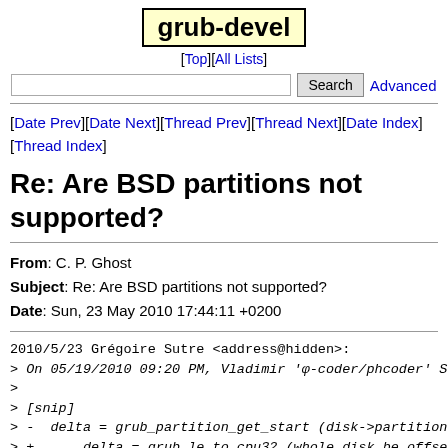grub-devel
[Top][All Lists]
[Date Prev][Date Next][Thread Prev][Thread Next][Date Index][Thread Index]
Re: Are BSD partitions not supported?
From: C. P. Ghost
Subject: Re: Are BSD partitions not supported?
Date: Sun, 23 May 2010 17:44:11 +0200
2010/5/23 Grégoire Sutre <address@hidden>:
> On 05/19/2010 09:20 PM, Vladimir 'φ-coder/phcoder' Serb
>
> [snip]
> -  delta = grub_partition_get_start (disk->partition);
> +      delta = grub_le_to_cpu32 (whole_disk_be.offset),
>
> As dicsussed on irc, this makes the delta completely de
> c: entry of the disklabel, which could be bogus.